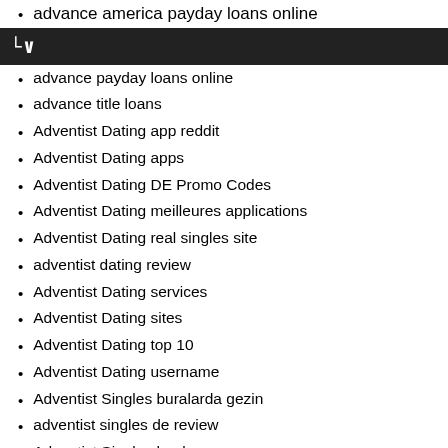advance america payday loans online
C~
advance payday loans online
advance title loans
Adventist Dating app reddit
Adventist Dating apps
Adventist Dating DE Promo Codes
Adventist Dating meilleures applications
Adventist Dating real singles site
adventist dating review
Adventist Dating services
Adventist Dating sites
Adventist Dating top 10
Adventist Dating username
Adventist Singles buralarda gezin
adventist singles de review
Adventist Singles hookup
adventist singles klantenservice
adventist singles kostenlos
adventist singles Preis
adventist singles premio
adventist singles review
adventist singles reviews
adventist singles search